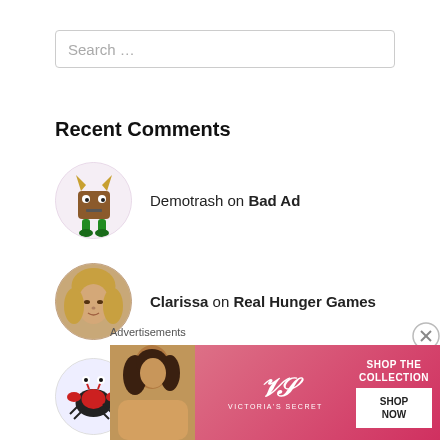Search …
Recent Comments
Demotrash on Bad Ad
Clarissa on Real Hunger Games
methylethyl on Real Hunger Games
Clarissa on Real Hunger Games
[Figure (infographic): Victoria's Secret advertisement banner with model photo, VS logo, 'SHOP THE COLLECTION' text, and 'SHOP NOW' button]
Advertisements